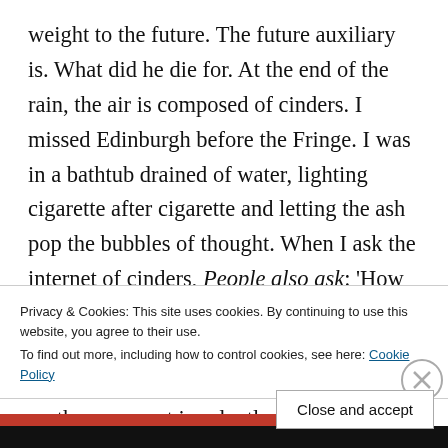weight to the future. The future auxiliary is. What did he die for. At the end of the rain, the air is composed of cinders. I missed Edinburgh before the Fringe. I was in a bathtub drained of water, lighting cigarette after cigarette and letting the ash pop the bubbles of thought. When I ask the internet of cinders, People also ask: 'How did Derrida die?', 'How many languages did Derrida speak?'.  I want the resilient self-presentation of all this nothing. My mother goes out in relentless rain. I
Privacy & Cookies: This site uses cookies. By continuing to use this website, you agree to their use.
To find out more, including how to control cookies, see here: Cookie Policy
Close and accept